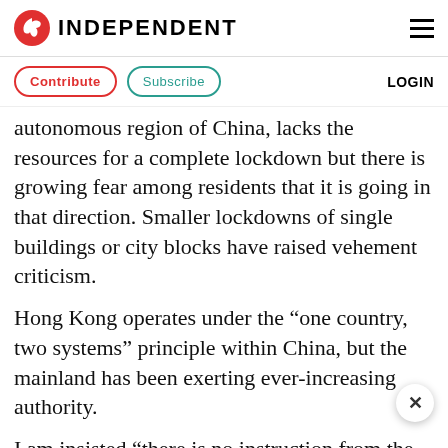INDEPENDENT
Contribute   Subscribe   LOGIN
autonomous region of China, lacks the resources for a complete lockdown but there is growing fear among residents that it is going in that direction. Smaller lockdowns of single buildings or city blocks have raised vehement criticism.
Hong Kong operates under the “one country, two systems” principle within China, but the mainland has been exerting ever-increasing authority.
I am insisted “there is no instruction from the